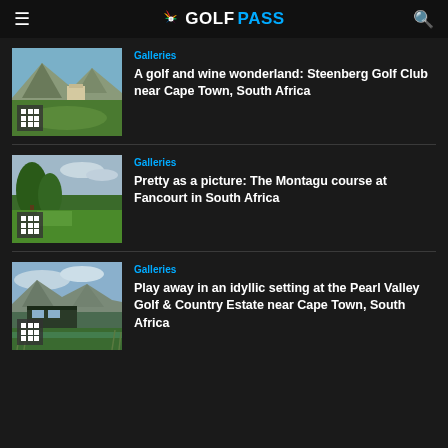GOLFPASS
Galleries
A golf and wine wonderland: Steenberg Golf Club near Cape Town, South Africa
[Figure (photo): Golf course with mountain backdrop - Steenberg Golf Club, Cape Town, South Africa]
Galleries
Pretty as a picture: The Montagu course at Fancourt in South Africa
[Figure (photo): Lush green golf course with trees - Montagu course at Fancourt, South Africa]
Galleries
Play away in an idyllic setting at the Pearl Valley Golf & Country Estate near Cape Town, South Africa
[Figure (photo): Pearl Valley Golf & Country Estate with mountain and clubhouse view near Cape Town, South Africa]